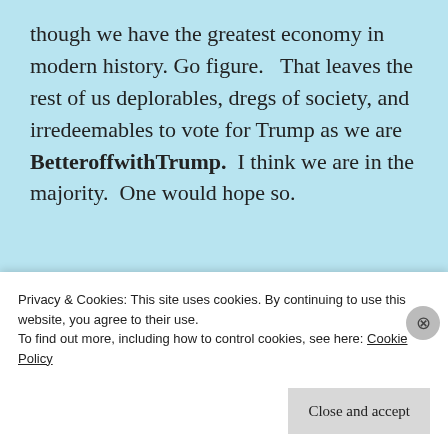though we have the greatest economy in modern history. Go figure.   That leaves the rest of us deplorables, dregs of society, and irredeemables to vote for Trump as we are BetteroffwithTrump.  I think we are in the majority.  One would hope so.
Advertisements
[Figure (screenshot): Advertisement box showing partial text 'Build a writing habit. Post on...' on a light grey background]
Privacy & Cookies: This site uses cookies. By continuing to use this website, you agree to their use.
To find out more, including how to control cookies, see here: Cookie Policy
Close and accept